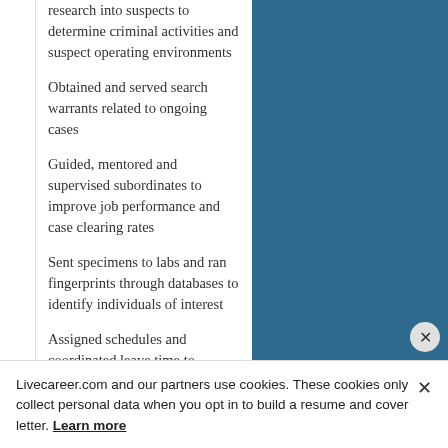research into suspects to determine criminal activities and suspect operating environments
Obtained and served search warrants related to ongoing cases
Guided, mentored and supervised subordinates to improve job performance and case clearing rates
Sent specimens to labs and ran fingerprints through databases to identify individuals of interest
Assigned schedules and coordinated leave time to
Livecareer.com and our partners use cookies. These cookies only collect personal data when you opt in to build a resume and cover letter. Learn more